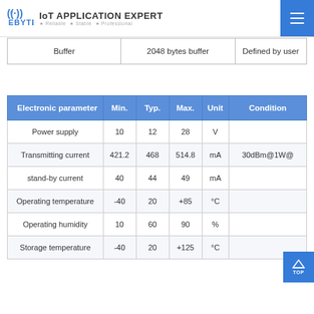EBYTE IoT APPLICATION EXPERT • Reliable • Stable • Professional
| Buffer | 2048 bytes buffer | Defined by user |
| --- | --- | --- |
| Electronic parameter | Min. | Typ. | Max. | Unit | Condition |
| --- | --- | --- | --- | --- | --- |
| Power supply | 10 | 12 | 28 | V |  |
| Transmitting current | 421.2 | 468 | 514.8 | mA | 30dBm@1W@ |
| stand-by current | 40 | 44 | 49 | mA |  |
| Operating temperature | -40 | 20 | +85 | °C |  |
| Operating humidity | 10 | 60 | 90 | % |  |
| Storage temperature | -40 | 20 | +125 | °C |  |